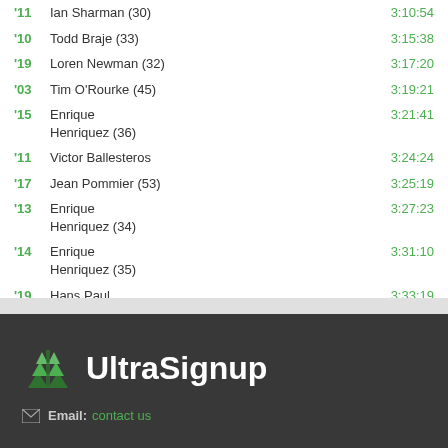'11  Ian Sharman (30)  3:10:54
'10  Todd Braje (33)  3:15:38
'19  Loren Newman (32)  3:17:20
'03  Tim O'Rourke (45)  3:19:21
'15  Enrique Henriquez (36)  3:21:41
'11  Victor Ballesteros  3:24:24
'17  Jean Pommier (53)  3:25:19
'13  Enrique Henriquez (34)  3:27:23
'14  Enrique Henriquez (35)  3:31:10
'19  Hans Paul Pizzinini (28)  3:33:19
[Figure (logo): UltraSignup logo with green triangle tree icon and white bold text 'UltraSignup' on dark background]
Email: contact us